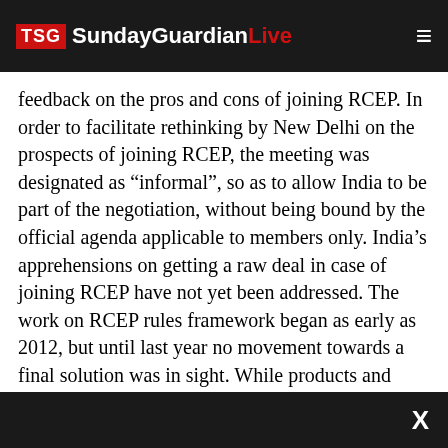TSG SundayGuardianLive
feedback on the pros and cons of joining RCEP. In order to facilitate rethinking by New Delhi on the prospects of joining RCEP, the meeting was designated as “informal”, so as to allow India to be part of the negotiation, without being bound by the official agenda applicable to members only. India’s apprehensions on getting a raw deal in case of joining RCEP have not yet been addressed. The work on RCEP rules framework began as early as 2012, but until last year no movement towards a final solution was in sight. While products and goods got all the attention, services, project exports and investments were not discussed in detail. Many of the member countries are already having a ver
X